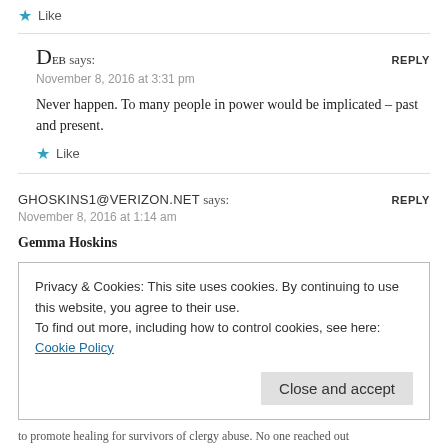★ Like
DEB says:
REPLY
November 8, 2016 at 3:31 pm
Never happen. To many people in power would be implicated – past and present.
★ Like
GHOSKINS1@VERIZON.NET says:
REPLY
November 8, 2016 at 1:14 am
Gemma Hoskins
Privacy & Cookies: This site uses cookies. By continuing to use this website, you agree to their use.
To find out more, including how to control cookies, see here: Cookie Policy
Close and accept
to promote healing for survivors of clergy abuse. No one reached out